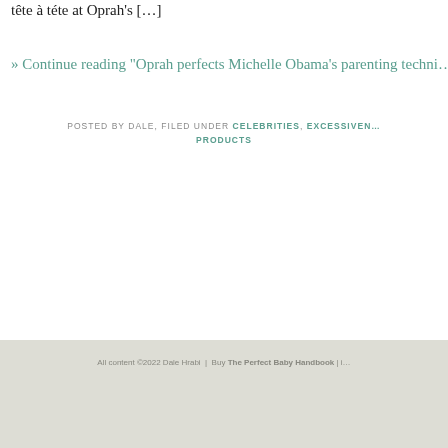tête à téte at Oprah's […]
» Continue reading "Oprah perfects Michelle Obama's parenting techni…"
POSTED BY DALE, FILED UNDER CELEBRITIES, EXCESSIVEN… PRODUCTS
All content ©2022 Dale Hrabi  |  Buy The Perfect Baby Handbook | i…